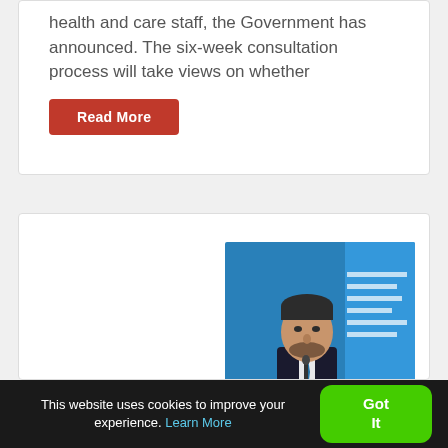health and care staff, the Government has announced. The six-week consultation process will take views on whether
Read More
[Figure (photo): Photo of a man in a dark suit with a blue tie speaking at a podium in front of a blue background with official signage]
This website uses cookies to improve your experience. Learn More
Got It